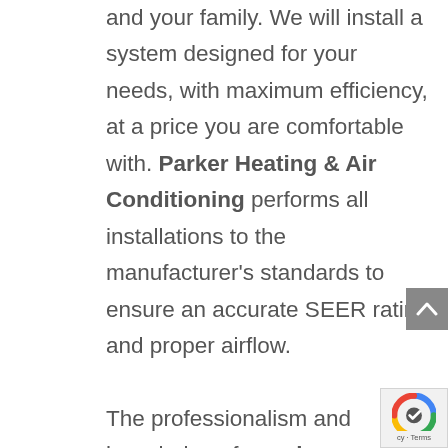and your family. We will install a system designed for your needs, with maximum efficiency, at a price you are comfortable with. Parker Heating & Air Conditioning performs all installations to the manufacturer's standards to ensure an accurate SEER rating and proper airflow.

The professionalism and knowledge of our air conditioning contractors, means that when you need an air conditioning installation, we have dealt with it before and know how to install it correctly no matter